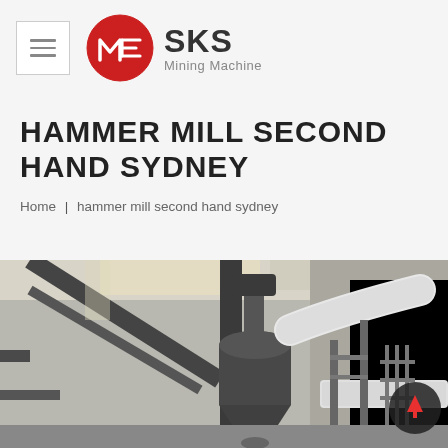SKS Mining Machine
HAMMER MILL SECOND HAND SYDNEY
Home | hammer mill second hand sydney
[Figure (photo): Industrial hammer mill / grinding mill machinery inside a factory building, showing large metal structures, pipes, a cyclone separator, and ductwork with steel framework]